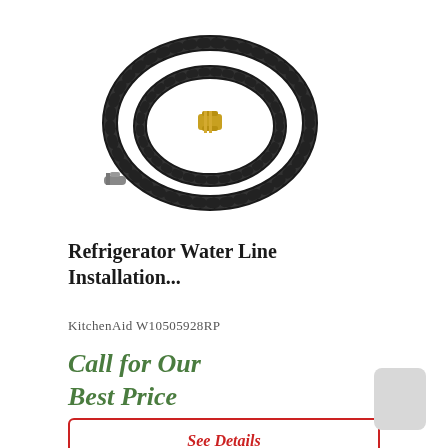[Figure (photo): Coiled black braided refrigerator water line hose with brass fitting connector, photographed on white background]
Refrigerator Water Line Installation...
KitchenAid W10505928RP
Call for Our Best Price
See Details